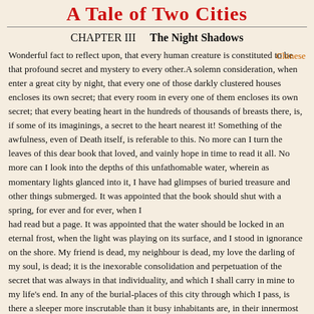A Tale of Two Cities
CHAPTER III    The Night Shadows
Chinese
Wonderful fact to reflect upon, that every human creature is constituted to be that profound secret and mystery to every other.A solemn consideration, when enter a great city by night, that every one of those darkly clustered houses encloses its own secret; that every room in every one of them encloses its own secret; that every beating heart in the hundreds of thousands of breasts there, is, if some of its imaginings, a secret to the heart nearest it! Something of the awfulness, even of Death itself, is referable to this. No more can I turn the leaves of this dear book that loved, and vainly hope in time to read it all. No more can I look into the depths of this unfathomable water, wherein as momentary lights glanced into it, I have had glimpses of buried treasure and other things submerged. It was appointed that the book should shut with a spring, for ever and for ever, when I had read but a page. It was appointed that the water should be locked in an eternal frost, when the light was playing on its surface, and I stood in ignorance on the shore. My friend is dead, my neighbour is dead, my love the darling of my soul, is dead; it is the inexorable consolidation and perpetuation of the secret that was always in that individuality, and which I shall carry in mine to my life's end. In any of the burial-places of this city through which I pass, is there a sleeper more inscrutable than it busy inhabitants are, in their innermost personality, to me or than I am to them.
As to this, his natural and not to be alienated inheritance the messenger on horseback had exactly the same possession as the King, the first Minister of State, or the richest merchant in London. So with the three passengers shut up i' th...